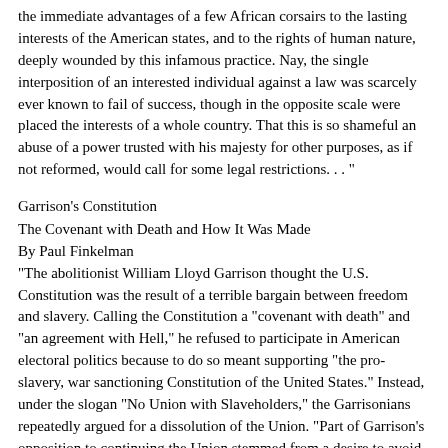the immediate advantages of a few African corsairs to the lasting interests of the American states, and to the rights of human nature, deeply wounded by this infamous practice. Nay, the single interposition of an interested individual against a law was scarcely ever known to fail of success, though in the opposite scale were placed the interests of a whole country. That this is so shameful an abuse of a power trusted with his majesty for other purposes, as if not reformed, would call for some legal restrictions. . . "
Garrison's Constitution
The Covenant with Death and How It Was Made
By Paul Finkelman
"The abolitionist William Lloyd Garrison thought the U.S. Constitution was the result of a terrible bargain between freedom and slavery. Calling the Constitution a "covenant with death" and "an agreement with Hell," he refused to participate in American electoral politics because to do so meant supporting "the pro-slavery, war sanctioning Constitution of the United States." Instead, under the slogan "No Union with Slaveholders," the Garrisonians repeatedly argued for a dissolution of the Union. "Part of Garrison's opposition to continuing the Union stemmed from a desire to avoid the corruption that came from participating in a government created by the proslavery Constitution. But this position was also at least theoretically pragmatic. The Garrisonians were convinced that the legal protection of slavery in the Constitution made political activity futile, while support for the